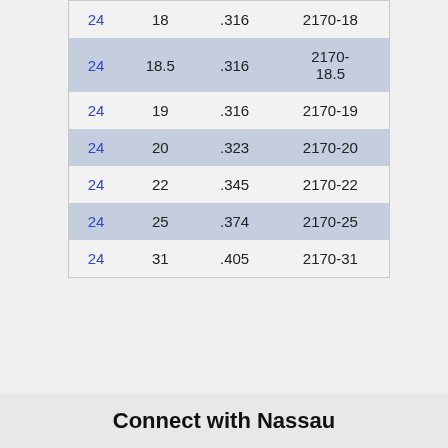| 24 | 18 | .316 | 2170-18 |
| 24 | 18.5 | .316 | 2170-18.5 |
| 24 | 19 | .316 | 2170-19 |
| 24 | 20 | .323 | 2170-20 |
| 24 | 22 | .345 | 2170-22 |
| 24 | 25 | .374 | 2170-25 |
| 24 | 31 | .405 | 2170-31 |
Connect with Nassau